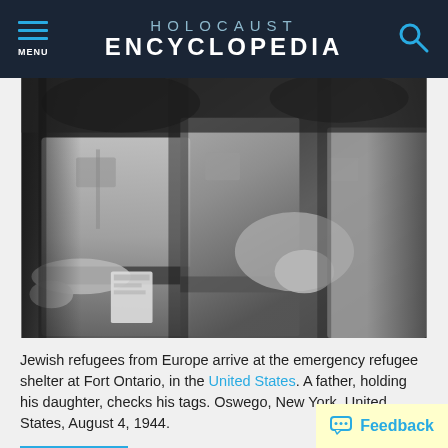HOLOCAUST ENCYCLOPEDIA
[Figure (photo): Black and white historical photograph showing Jewish refugees arriving at Fort Ontario. A father in a short-sleeve shirt holds his daughter and checks his tags while other figures are visible in background.]
Jewish refugees from Europe arrive at the emergency refugee shelter at Fort Ontario, in the United States. A father, holding his daughter, checks his tags. Oswego, New York, United States, August 4, 1944.
Item View »
Feedback